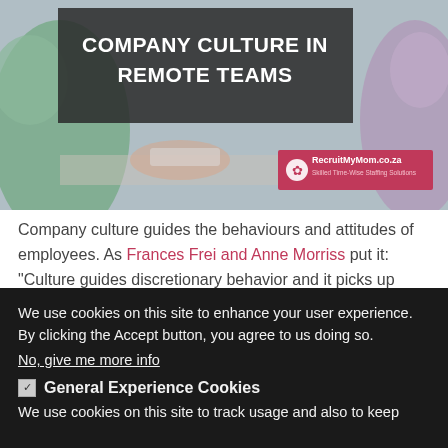[Figure (photo): Hero image showing people working, with dark overlay box containing white bold uppercase text 'COMPANY CULTURE IN REMOTE TEAMS' and a pink RecruitMyMom.co.za brand badge in bottom right.]
Company culture guides the behaviours and attitudes of employees. As Frances Frei and Anne Morriss put it: “Culture guides discretionary behavior and it picks up where the employee guide leaves off.”
We use cookies on this site to enhance your user experience. By clicking the Accept button, you agree to us doing so.
No, give me more info
☑ General Experience Cookies
We use cookies on this site to track usage and also to keep